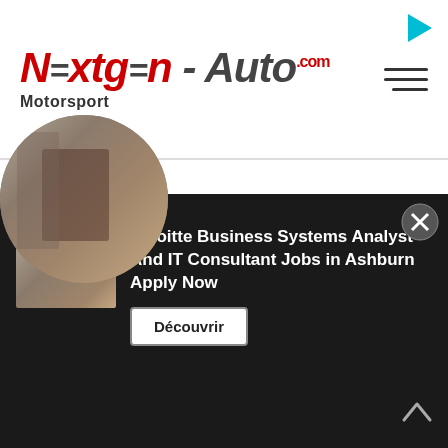NEXTGEN-AUTO.com Motorsport
[Figure (screenshot): Large empty white content area below the header]
[Figure (photo): Circular cropped photo of a person working at a laptop in an office setting]
[Figure (photo): Small rectangular thumbnail of a person working at a laptop in an office]
Deloitte Business Systems Analyst And IT Consultant Jobs in Ashburn Apply Now
Découvrir